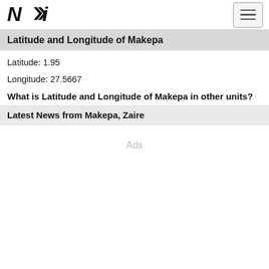NTI logo and navigation menu
Latitude and Longitude of Makepa
Latitude: 1.95
Longitude: 27.5667
What is Latitude and Longitude of Makepa in other units?
Latest News from Makepa, Zaire
Ads